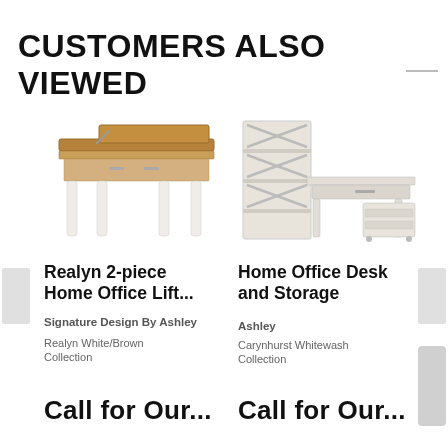CUSTOMERS ALSO VIEWED
[Figure (photo): Realyn 2-piece lift-top home office desk in white/brown finish with angled top raised on one side]
Realyn 2-piece Home Office Lift...
Signature Design By Ashley
Realyn White/Brown Collection
Call for Our...
[Figure (photo): Home Office Desk and Storage set in whitewash finish showing a tall bookcase/etagere with X-back detail and a desk with rolling file cabinet]
Home Office Desk and Storage
Ashley
Carynhurst Whitewash Collection
Call for Our...